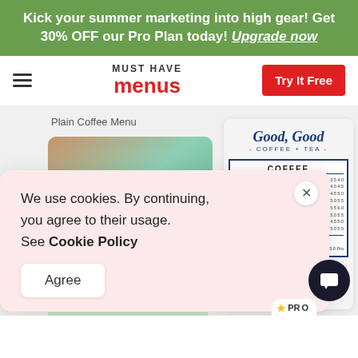Kick your summer marketing into high gear! Get 30% OFF our Pro Plan today! Upgrade now
[Figure (screenshot): Must Have Menus website navigation bar with hamburger menu, logo, and Try It Free button]
Plain Coffee Menu
[Figure (screenshot): Sweet Tea Cafe menu card thumbnail (teal and brown gradient)]
[Figure (screenshot): Good Good Coffee + Tea menu card thumbnail]
We use cookies. By continuing, you agree to their usage. See Cookie Policy
Agree